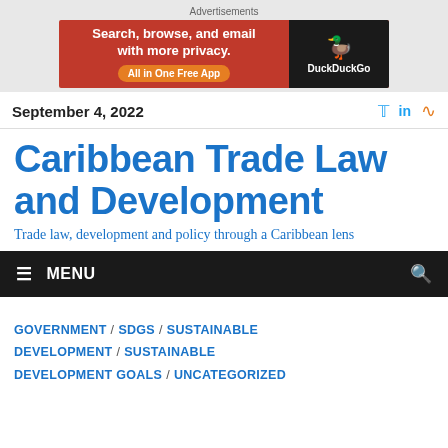[Figure (other): DuckDuckGo advertisement banner: orange left side with text 'Search, browse, and email with more privacy. All in One Free App' and dark right side with DuckDuckGo logo]
September 4, 2022
Caribbean Trade Law and Development
Trade law, development and policy through a Caribbean lens
MENU
GOVERNMENT / SDGS / SUSTAINABLE DEVELOPMENT / SUSTAINABLE DEVELOPMENT GOALS / UNCATEGORIZED